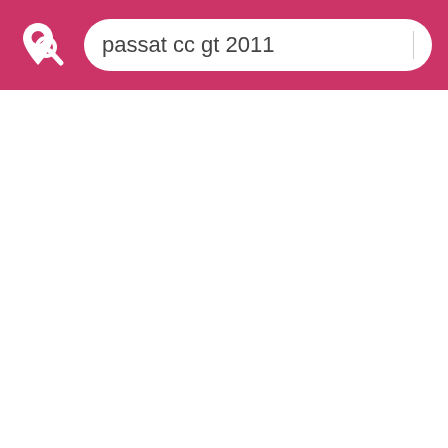[Figure (screenshot): Mobile app header bar with pink/crimson background, showing a map pin with magnifier logo icon on the left, and a white rounded search input box containing the text 'passat cc gt 2011' with a cursor line on the right.]